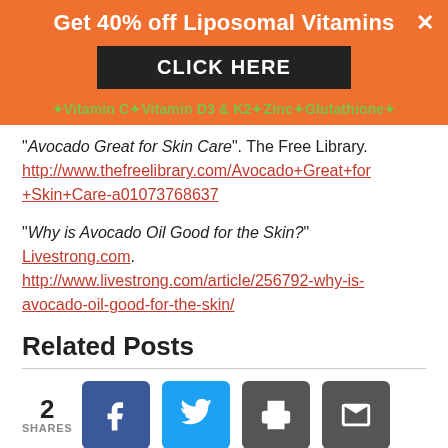[Figure (infographic): Orange promotional banner: 'Get 40% off Liposomal Vitamins' with a black 'CLICK HERE' button and product links: Vitamin C, Vitamin D3 & K2, Zinc, Glutathione]
"Avocado Great for Skin Care". The Free Library. http://www.thefreelibrary.com/Avocado+Great+for+Skin+Care-a01073768637
"Why is Avocado Oil Good for the Skin?" Livestrong.com. http://www.livestrong.com/article/256792-why-is-avocado-oil-good-for-the-skin/
Related Posts
2 SHARES